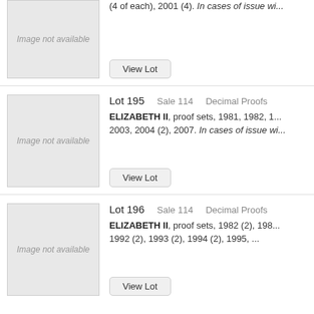[Figure (other): Image not available placeholder box for lot above 195]
(4 of each), 2001 (4). In cases of issue wi...
View Lot
[Figure (other): Image not available placeholder box for lot 195]
Lot 195   Sale 114   Decimal Proofs
ELIZABETH II, proof sets, 1981, 1982, 1... 2003, 2004 (2), 2007. In cases of issue wi...
View Lot
[Figure (other): Image not available placeholder box for lot 196]
Lot 196   Sale 114   Decimal Proofs
ELIZABETH II, proof sets, 1982 (2), 1986... 1992 (2), 1993 (2), 1994 (2), 1995, ...
View Lot